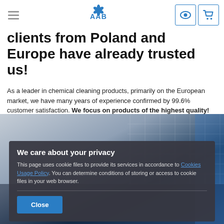AAB — navigation header with hamburger menu, logo, eye icon, cart icon
clients from Poland and Europe have already trusted us!
As a leader in chemical cleaning products, primarily on the European market, we have many years of experience confirmed by 99.6% customer satisfaction. We focus on products of the highest quality!
[Figure (photo): Photo of industrial/electronic cleaning equipment, air conditioning unit grille and electronics, blurred background]
We care about your privacy
This page uses cookie files to provide its services in accordance to Cookies Usage Policy. You can determine conditions of storing or access to cookie files in your web browser.
Close